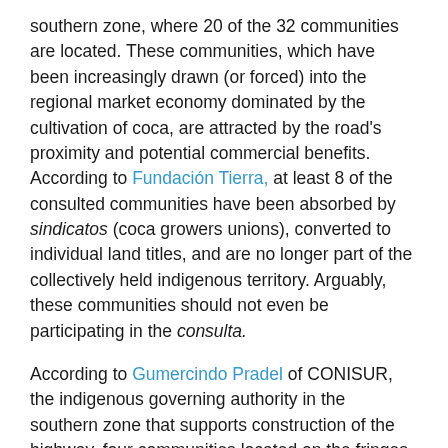southern zone, where 20 of the 32 communities are located. These communities, which have been increasingly drawn (or forced) into the regional market economy dominated by the cultivation of coca, are attracted by the road's proximity and potential commercial benefits. According to Fundación Tierra, at least 8 of the consulted communities have been absorbed by sindicatos (coca growers unions), converted to individual land titles, and are no longer part of the collectively held indigenous territory. Arguably, these communities should not even be participating in the consulta.
According to Gumercindo Pradel of CONISUR, the indigenous governing authority in the southern zone that supports construction of the highway, four communities located on the fringes of the zone near San Miguelito have decided to reject the road. Many of these community processes have not yet been formalized through the official consulta (see Fundación Tierra's interactive map for updates on the official and community processes).